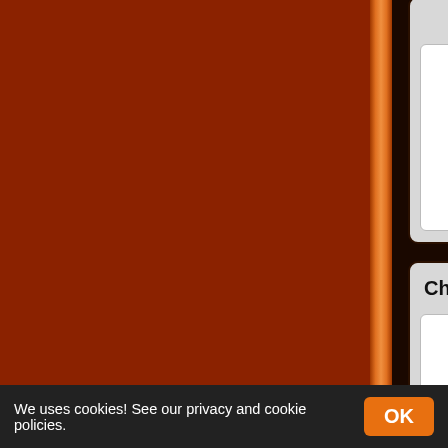[Figure (screenshot): Website UI screenshot showing a game library/catalog page with a dark brown background. Left sidebar is dark orange-brown. Content area shows game cards in a grid: a partial card at top, 'Chronopia' card in middle row, and 'Legends of the High Seas' card in bottom row. Partial cards on the right side show truncated text 'Arc' and 'Su'.]
Chronopia
Legends of the High Seas
We uses cookies! See our privacy and cookie policies.
OK